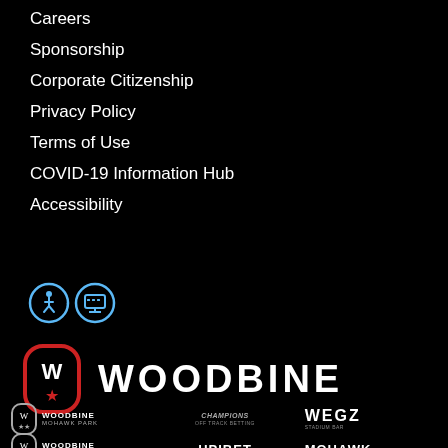Careers
Sponsorship
Corporate Citizenship
Privacy Policy
Terms of Use
COVID-19 Information Hub
Accessibility
[Figure (logo): Accessibility icons: wheelchair accessible and keyboard/TTY accessible badges in blue outline circles]
[Figure (logo): Woodbine main logo: red rounded rectangle with W and star emblem, followed by WOODBINE text in white]
[Figure (logo): Bottom row logos: Woodbine Mohawk Park, Champions Off Track Betting, WEGZ Stadium Bar, Woodbine Entertainment, HPIBet, Mohawk]
Woodbine Entertainment Group footer navigation and brand logos